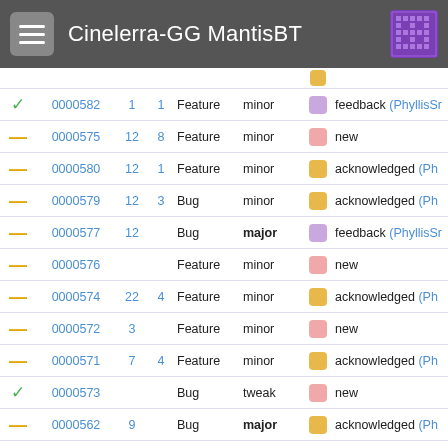Cinelerra-GG MantisBT
| icon | ID | num1 | num2 | type | severity | color | status |
| --- | --- | --- | --- | --- | --- | --- | --- |
| ▼ | 0000582 | 1 | 1 | Feature | minor | purple | feedback (PhyllisSr |
| — | 0000575 | 12 | 8 | Feature | minor | pink | new |
| — | 0000580 | 12 | 1 | Feature | minor | orange | acknowledged (Ph |
| — | 0000579 | 12 | 3 | Bug | minor | orange | acknowledged (Ph |
| — | 0000577 | 12 |  | Bug | major | purple | feedback (PhyllisSr |
| — | 0000576 |  |  | Feature | minor | pink | new |
| — | 0000574 | 22 | 4 | Feature | minor | orange | acknowledged (Ph |
| — | 0000572 | 3 |  | Feature | minor | pink | new |
| — | 0000571 | 7 | 4 | Feature | minor | orange | acknowledged (Ph |
| ▼ | 0000573 |  |  | Bug | tweak | pink | new |
| — | 0000562 | 9 |  | Bug | major | orange | acknowledged (Ph |
| ▲ | 0000565 | 1 |  | Bug | block | orange | acknowledged (Ph |
| — | 0000560 | 3 |  | Bug | minor | orange | acknowledged (Ph |